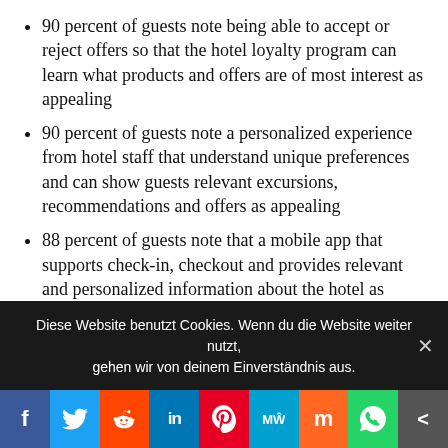90 percent of guests note being able to accept or reject offers so that the hotel loyalty program can learn what products and offers are of most interest as appealing
90 percent of guests note a personalized experience from hotel staff that understand unique preferences and can show guests relevant excursions, recommendations and offers as appealing
88 percent of guests note that a mobile app that supports check-in, checkout and provides relevant and personalized information about the hotel as appealing
87 percent of guests note the ability to explore hotel rooms through Virtual Reality before deciding on which hotel to stay in or which room to choose as part of the booking process as appealing
Diese Website benutzt Cookies. Wenn du die Website weiter nutzt, gehen wir von deinem Einverständnis aus.